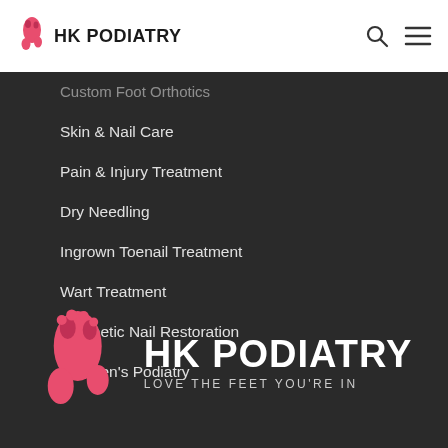HK PODIATRY
Custom Foot Orthotics
Skin & Nail Care
Pain & Injury Treatment
Dry Needling
Ingrown Toenail Treatment
Wart Treatment
Cosmetic Nail Restoration
Children's Podiatry
[Figure (logo): HK Podiatry logo with pink footprint icon and tagline LOVE THE FEET YOU'RE IN on dark background]